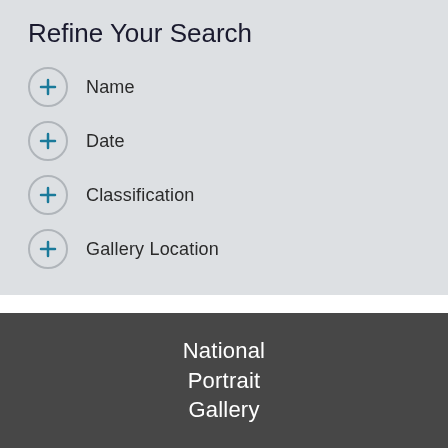Refine Your Search
Name
Date
Classification
Gallery Location
National Portrait Gallery